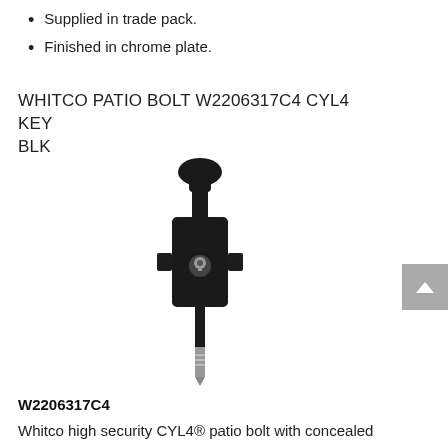Supplied in trade pack.
Finished in chrome plate.
WHITCO PATIO BOLT W2206317C4 CYL4 KEY BLK
[Figure (photo): Black patio bolt with cylindrical body, thumb turn at top and metal bolt pin extending from bottom, with keyhole on side.]
W2206317C4
Whitco high security CYL4® patio bolt with concealed fixing.